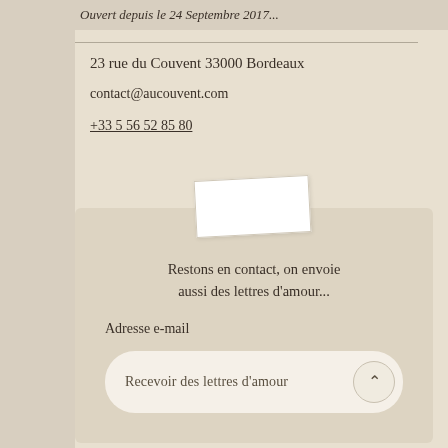Ouvert depuis le 24 Septembre 2017...
23 rue du Couvent 33000 Bordeaux
contact@aucouvent.com
+33 5 56 52 85 80
[Figure (illustration): White envelope or card tilted slightly, overlapping the contact subscription box below]
Restons en contact, on envoie aussi des lettres d'amour...
Adresse e-mail
Recevoir des lettres d'amour